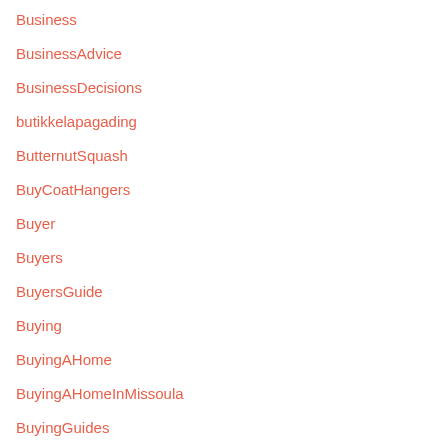Business
BusinessAdvice
BusinessDecisions
butikkelapagading
ButternutSquash
BuyCoatHangers
Buyer
Buyers
BuyersGuide
Buying
BuyingAHome
BuyingAHomeInMissoula
BuyingGuides
BuyingList